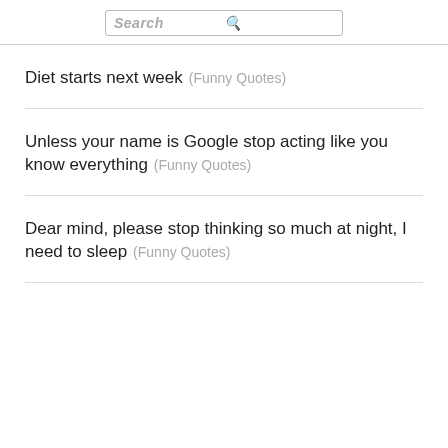Search
Diet starts next week  (Funny Quotes)
Unless your name is Google stop acting like you know everything  (Funny Quotes)
Dear mind, please stop thinking so much at night, I need to sleep  (Funny Quotes)